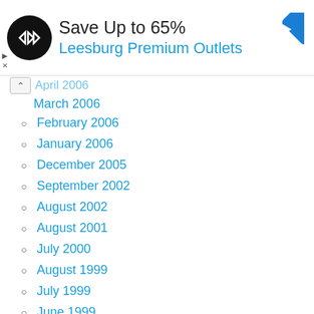[Figure (infographic): Advertisement banner: Save Up to 65% at Leesburg Premium Outlets with logo and navigation arrow icon]
April 2006 (truncated, partially visible)
March 2006
February 2006
January 2006
December 2005
September 2002
August 2002
August 2001
July 2000
August 1999
July 1999
June 1999
May 1999
April 1999
March 1999
January 1999